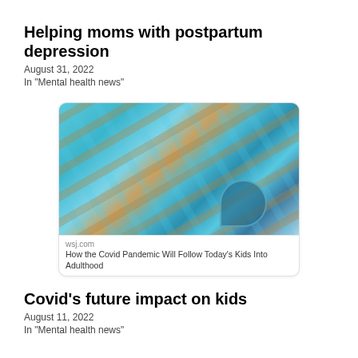Helping moms with postpartum depression
August 31, 2022
In "Mental health news"
[Figure (photo): Colorful holographic blue and gold abstract image with a figure in the lower right, shown as a card embed from wsj.com with headline: How the Covid Pandemic Will Follow Today’s Kids Into Adulthood]
wsj.com
How the Covid Pandemic Will Follow Today’s Kids Into Adulthood
Covid’s future impact on kids
August 11, 2022
In "Mental health news"